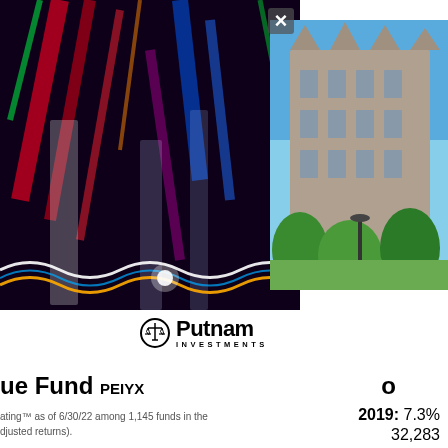[Figure (photo): Abstract colorful light streaks photo (neon light show) on left side top]
[Figure (photo): Gothic stone university building exterior with trees, right side top]
×
[Figure (logo): Putnam Investments logo with scales icon]
ue Fund PEIYX
o
2019: 7.3%
32,283
ating™ as of 6/30/22 among 1,145 funds in the djusted returns).